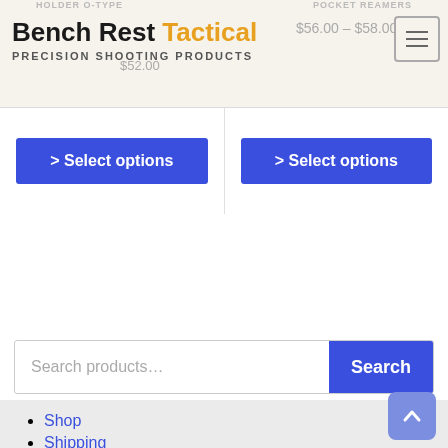Bench Rest Tactical — PRECISION SHOOTING PRODUCTS
HOLDER O-TYPE   $52.00   POCKET REAMERS   $56.00 – $58.00
> Select options (left card)
> Select options (right card)
Search products...
Shop
Shipping
Contact Us
About Us
Wishlist
My Account
Checkout
Cart
Terms of Service
Returns Policy
Privacy Policy